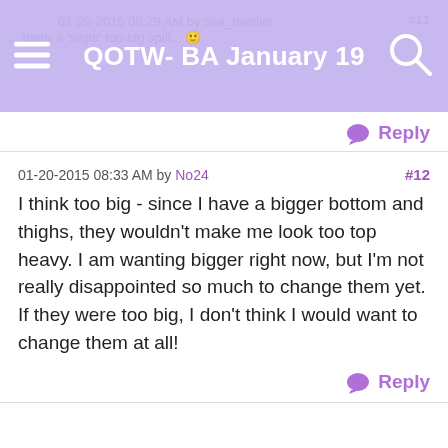QOTW- BA January 19
01-20-2015 08:29 AM by sea_dweller ... there a 'slight' too big spill... #11
Reply
01-20-2015 08:33 AM by No24   #12
I think too big - since I have a bigger bottom and thighs, they wouldn't make me look too top heavy. I am wanting bigger right now, but I'm not really disappointed so much to change them yet. If they were too big, I don't think I would want to change them at all!
Reply